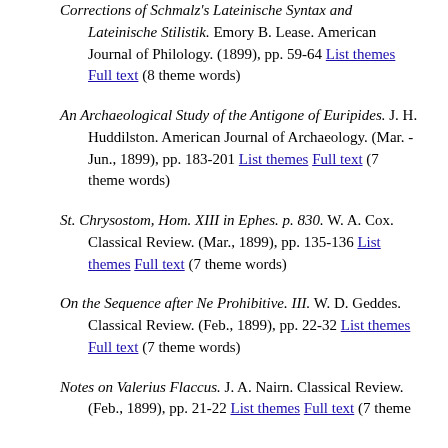Corrections of Schmalz's Lateinische Syntax and Lateinische Stilistik. Emory B. Lease. American Journal of Philology. (1899), pp. 59-64 List themes Full text (8 theme words)
An Archaeological Study of the Antigone of Euripides. J. H. Huddilston. American Journal of Archaeology. (Mar. - Jun., 1899), pp. 183-201 List themes Full text (7 theme words)
St. Chrysostom, Hom. XIII in Ephes. p. 830. W. A. Cox. Classical Review. (Mar., 1899), pp. 135-136 List themes Full text (7 theme words)
On the Sequence after Ne Prohibitive. III. W. D. Geddes. Classical Review. (Feb., 1899), pp. 22-32 List themes Full text (7 theme words)
Notes on Valerius Flaccus. J. A. Nairn. Classical Review. (Feb., 1899), pp. 21-22 List themes Full text (7 theme words)